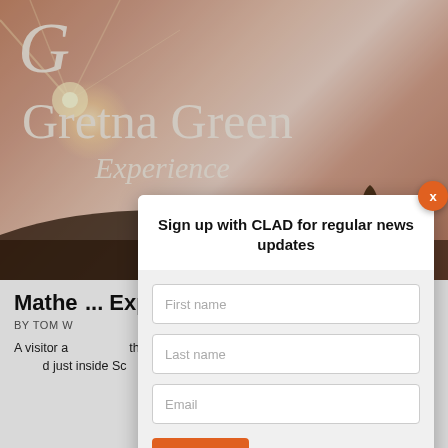[Figure (photo): Photo of the Gretna Green Experience exhibit signage with pinkish-orange glowing backdrop and a display pedestal with artifact]
Mathe... Expe... [Gretna Green Experience article title partially obscured]
BY TOM W...
A visitor... parish of Gretna G... ...y marriage... ...d just inside Sc... ...mous for
Sign up with CLAD for regular news updates
First name
Last name
Email
SIGN UP